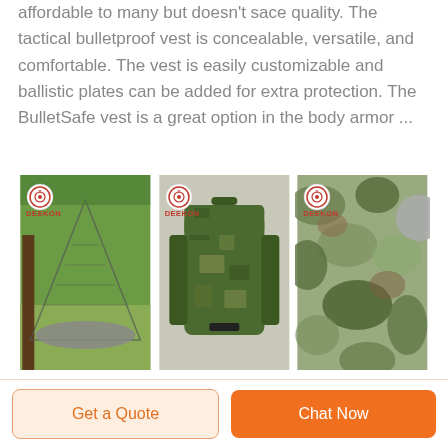affordable to many but doesn't sace quality. The tactical bulletproof vest is concealable, versatile, and comfortable. The vest is easily customizable and ballistic plates can be added for extra protection. The BulletSafe vest is a great option in the body armor ...
[Figure (photo): Three product images side by side, each with a DEEKON logo/badge in the top-left corner. Left: a mosquito net tent over a sleeping mat on grass. Center: a camouflage military backpack. Right: camouflage fabric/material with a gray circular element partially visible at top-right.]
Garen Suede Vest – MY100145 – Medieval
Get a Quote
Chat Now